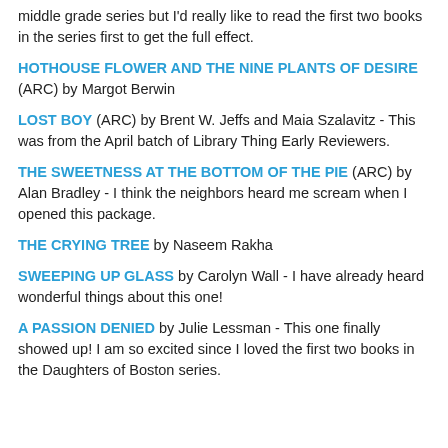middle grade series but I'd really like to read the first two books in the series first to get the full effect.
HOTHOUSE FLOWER AND THE NINE PLANTS OF DESIRE (ARC) by Margot Berwin
LOST BOY (ARC) by Brent W. Jeffs and Maia Szalavitz - This was from the April batch of Library Thing Early Reviewers.
THE SWEETNESS AT THE BOTTOM OF THE PIE (ARC) by Alan Bradley - I think the neighbors heard me scream when I opened this package.
THE CRYING TREE by Naseem Rakha
SWEEPING UP GLASS by Carolyn Wall - I have already heard wonderful things about this one!
A PASSION DENIED by Julie Lessman - This one finally showed up! I am so excited since I loved the first two books in the Daughters of Boston series.